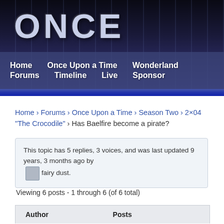[Figure (screenshot): Website header banner with dark blue forest background and large 'ONCE' text logo]
Home  Once Upon a Time  Wonderland  Forums  Timeline  Live  Sponsor
Home › Forums › Once Upon a Time › Season Two › 2×04 "The Crocodile" › Has Baelfire become a pirate?
This topic has 5 replies, 3 voices, and was last updated 9 years, 3 months ago by fairy dust.
Viewing 6 posts - 1 through 6 (of 6 total)
| Author | Posts |
| --- | --- |